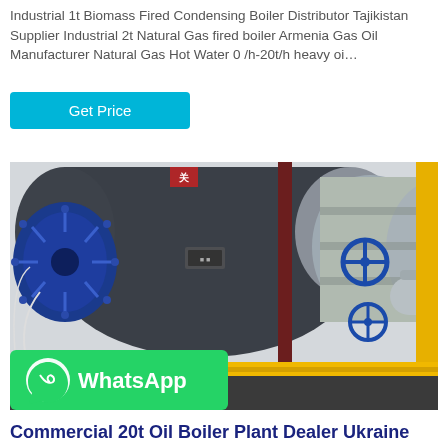Industrial 1t Biomass Fired Condensing Boiler Distributor Tajikistan Supplier Industrial 2t Natural Gas fired boiler Armenia Gas Oil Manufacturer Natural Gas Hot Water 0 /h-20t/h heavy oi…
Get Price
[Figure (photo): Industrial boiler plant interior showing large cylindrical boilers in grey/blue with blue burner assembly on left, yellow gas pipes, blue valve wheels, and silver insulated pipes. WhatsApp button overlay at bottom left.]
Commercial 20t Oil Boiler Plant Dealer Ukraine